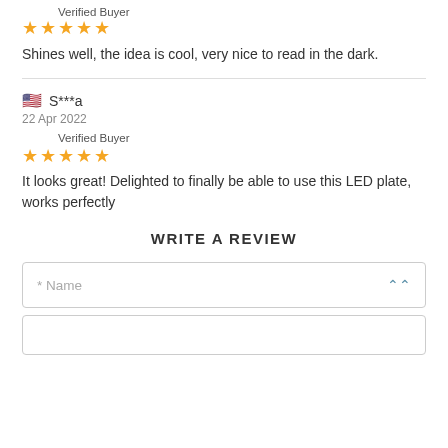Verified Buyer
★★★★★
Shines well, the idea is cool, very nice to read in the dark.
S***a
22 Apr 2022
Verified Buyer
★★★★★
It looks great! Delighted to finally be able to use this LED plate, works perfectly
WRITE A REVIEW
* Name
(bottom input field)